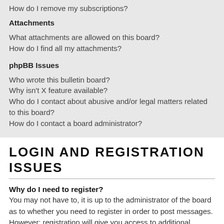How do I remove my subscriptions?
Attachments
What attachments are allowed on this board?
How do I find all my attachments?
phpBB Issues
Who wrote this bulletin board?
Why isn't X feature available?
Who do I contact about abusive and/or legal matters related to this board?
How do I contact a board administrator?
LOGIN AND REGISTRATION ISSUES
Why do I need to register?
You may not have to, it is up to the administrator of the board as to whether you need to register in order to post messages. However; registration will give you access to additional features not available to guest users such as definable avatar images, private messaging, emailing of fellow users, usergroup subscription, etc. It only takes a few moments to register so it is recommended you do so.